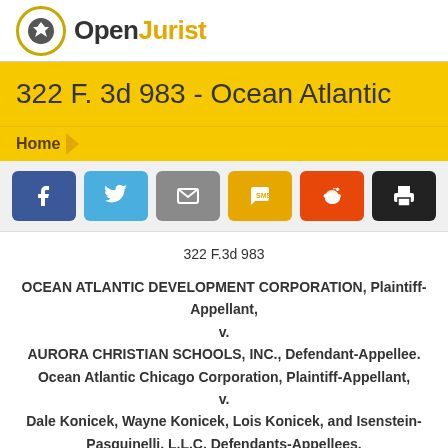OpenJurist
322 F. 3d 983 - Ocean Atlantic
Home
[Figure (other): Social share buttons: Facebook, Twitter, Email, SMS, Reddit, Print]
322 F.3d 983
OCEAN ATLANTIC DEVELOPMENT CORPORATION, Plaintiff-Appellant, v. AURORA CHRISTIAN SCHOOLS, INC., Defendant-Appellee. Ocean Atlantic Chicago Corporation, Plaintiff-Appellant, v. Dale Konicek, Wayne Konicek, Lois Konicek, and Isenstein-Pasquinelli, L.L.C. Defendants-Appellees.